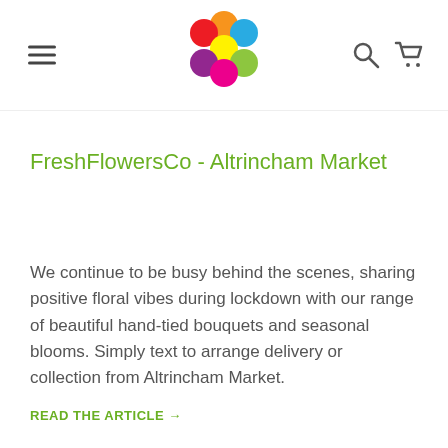FreshFlowersCo logo with hamburger menu, search and cart icons
FreshFlowersCo - Altrincham Market
We continue to be busy behind the scenes, sharing positive floral vibes during lockdown with our range of beautiful hand-tied bouquets and seasonal blooms. Simply text to arrange delivery or collection from Altrincham Market.
READ THE ARTICLE →